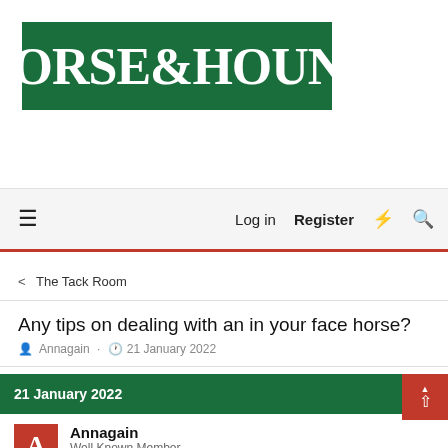[Figure (logo): Horse & Hound magazine logo — white serif text on dark green background]
Log in  Register  ☰
< The Tack Room
Any tips on dealing with an in your face horse?
Annagain · 21 January 2022
21 January 2022
Annagain
Well Known Member